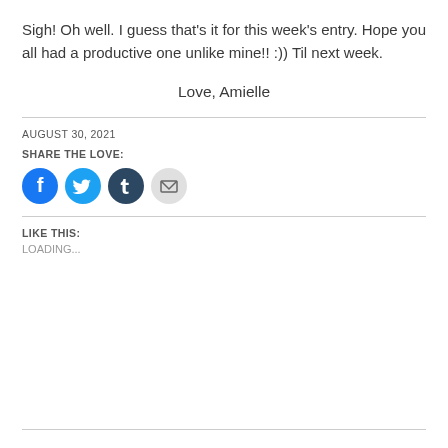Sigh! Oh well. I guess that's it for this week's entry. Hope you all had a productive one unlike mine!! :)) Til next week.
Love, Amielle
AUGUST 30, 2021
SHARE THE LOVE:
[Figure (other): Four circular social sharing buttons: Facebook (blue), Twitter (light blue), Tumblr (dark navy), Email (light gray)]
LIKE THIS:
LOADING...